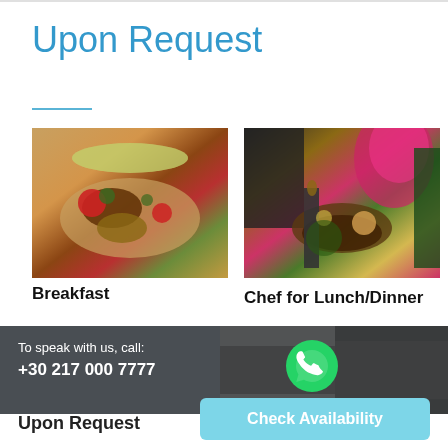Upon Request
[Figure (photo): Pancakes with chocolate sauce, strawberries and garnish on a plate]
[Figure (photo): Chef-prepared lunch/dinner spread with pizza, flowers, and food items on a table]
Breakfast
Chef for Lunch/Dinner
To speak with us, call:
+30 217 000 7777
[Figure (photo): Dark background with two thumbnail food photos and WhatsApp icon]
Upon Request
Check Availability